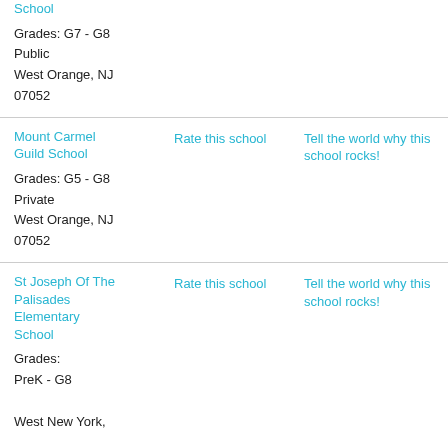School
Grades: G7 - G8
Public
West Orange, NJ 07052
Mount Carmel Guild School
Rate this school
Tell the world why this school rocks!
Grades: G5 - G8
Private
West Orange, NJ 07052
St Joseph Of The Palisades Elementary School
Rate this school
Tell the world why this school rocks!
Grades: PreK - G8
West New York